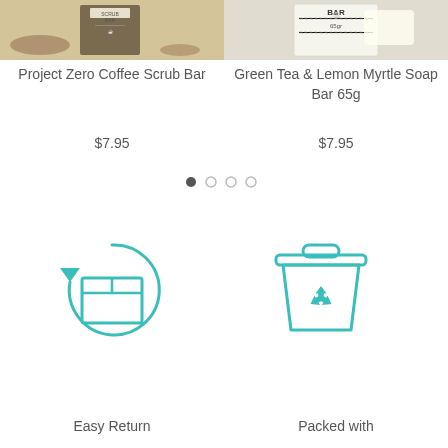[Figure (photo): Product photo of Project Zero Coffee Scrub Bar on a beige/tan background with coffee grounds]
[Figure (photo): Product photo of Green Tea & Lemon Myrtle Soap Bar 65g on a light background]
Project Zero Coffee Scrub Bar
$7.95
Green Tea & Lemon Myrtle Soap Bar 65g
$7.95
[Figure (illustration): Carousel pagination dots, 4 dots with first dot filled/dark]
[Figure (illustration): Teal outline icon of a package/box with a circular return arrow]
[Figure (illustration): Teal outline icon of a recycling bin with recycling arrows symbol]
Easy Return
Packed with